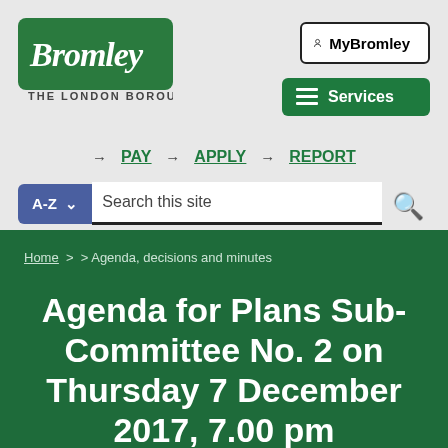[Figure (logo): Bromley The London Borough logo - green brush-stroke style with white script text]
[Figure (screenshot): MyBromley button and Services button in header navigation]
→ PAY → APPLY → REPORT
A-Z ∨  Search this site
Home > > Agenda, decisions and minutes
Agenda for Plans Sub-Committee No. 2 on Thursday 7 December 2017, 7.00 pm